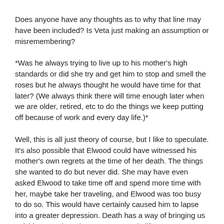Does anyone have any thoughts as to why that line may have been included? Is Veta just making an assumption or misremembering?
*Was he always trying to live up to his mother's high standards or did she try and get him to stop and smell the roses but he always thought he would have time for that later? (We always think there will time enough later when we are older, retired, etc to do the things we keep putting off because of work and every day life.)*
Well, this is all just theory of course, but I like to speculate. It's also possible that Elwood could have witnessed his mother's own regrets at the time of her death. The things she wanted to do but never did. She may have even asked Elwood to take time off and spend more time with her, maybe take her traveling, and Elwood was too busy to do so. This would have certainly caused him to lapse into a greater depression. Death has a way of bringing us quickly around to what matters most in life.